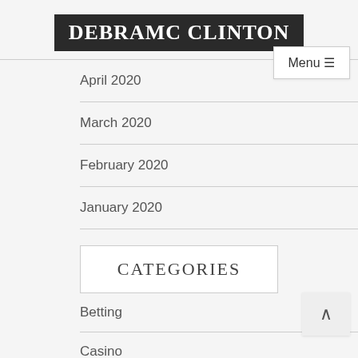DEBRAMC CLINTON
April 2020
March 2020
February 2020
January 2020
CATEGORIES
Betting
Casino
Casino Games